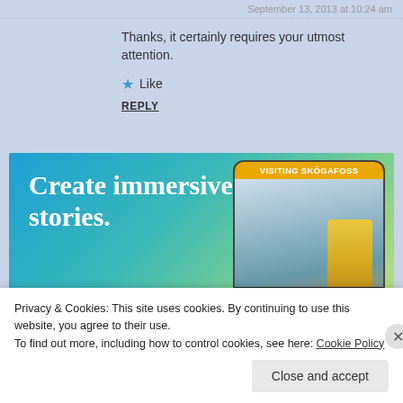September 13, 2013 at 10:24 am
Thanks, it certainly requires your utmost attention.
★ Like
REPLY
[Figure (screenshot): Advertisement banner reading 'Create immersive stories.' with a phone mockup showing 'VISITING SKOGAFOSS' waterfall scene]
Privacy & Cookies: This site uses cookies. By continuing to use this website, you agree to their use.
To find out more, including how to control cookies, see here: Cookie Policy
Close and accept